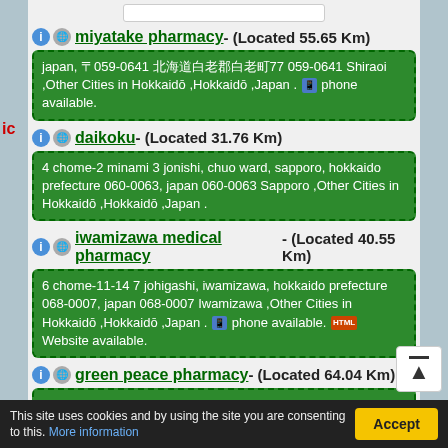miyatake pharmacy - (Located 55.65 Km) — japan, 〒059-0641 北海道白老郡白老町77 059-0641 Shiraoi ,Other Cities in Hokkaidō ,Hokkaidō ,Japan . phone available.
daikoku - (Located 31.76 Km) — 4 chome-2 minami 3 jonishi, chuo ward, sapporo, hokkaido prefecture 060-0063, japan 060-0063 Sapporo ,Other Cities in Hokkaidō ,Hokkaidō ,Japan .
iwamizawa medical pharmacy - (Located 40.55 Km) — 6 chome-11-14 7 johigashi, iwamizawa, hokkaido prefecture 068-0007, japan 068-0007 Iwamizawa ,Other Cities in Hokkaidō ,Hokkaidō ,Japan . phone available. Website available.
green peace pharmacy - (Located 64.04 Km) — 2 chome-34-1 midori, otaru, hokkaido prefecture 047-0034 japan 047-0034 Otaru ,Other Cities in Hokkaidō ,Hokkaidō ,Japan . phone available.
This site uses cookies and by using the site you are consenting to this. More information